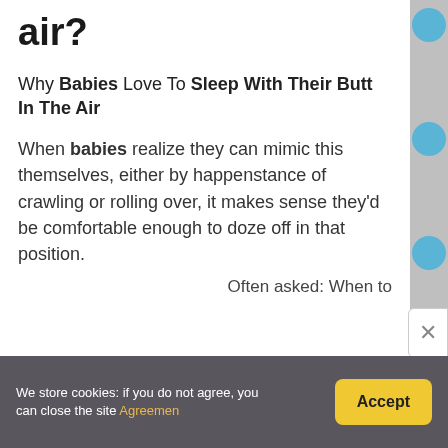air?
Why Babies Love To Sleep With Their Butt In The Air
When babies realize they can mimic this themselves, either by happenstance of crawling or rolling over, it makes sense they'd be comfortable enough to doze off in that position.
Often asked: When to
We store cookies: if you do not agree, you can close the site Agreemen